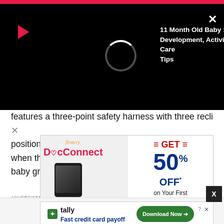[Figure (screenshot): Video overlay on black background showing play icon, loading spinner circle, video title '11 Month Old Baby : Development, Activities & Care Tips', and close X button]
features a three-point safety harness with three recli[ne] positions. The overhead toy bar can be removed when the baby grows old to convert it into an infant seat.
ADVERTISEMENT
[Figure (screenshot): FirstCry DocConnect advertisement banner showing GET 50% OFF on Your First [booking]. Left side shows DocConnect logo with stethoscope and phone graphic.]
[Figure (screenshot): Tally app advertisement: Fast credit card payoff. Download Now button with question mark and close X.]
SHOPPING   PARENTING